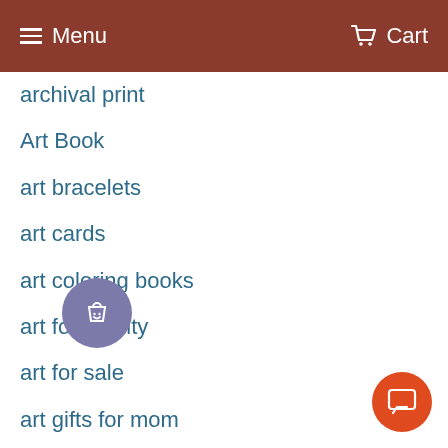Menu  Cart
archival print
Art Book
art bracelets
art cards
art coloring books
art for charity
art for sale
art gifts for mom
art hoodie
art magnets
art on canvas
art poster
art pendants
art pillow